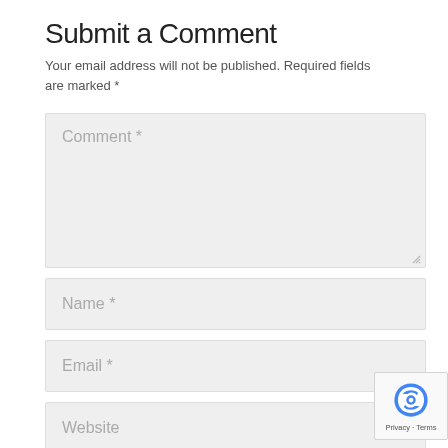Submit a Comment
Your email address will not be published. Required fields are marked *
[Figure (screenshot): Comment form with textarea labeled 'Comment *', input fields labeled 'Name *', 'Email *', 'Website', and a reCAPTCHA badge in the bottom right corner]